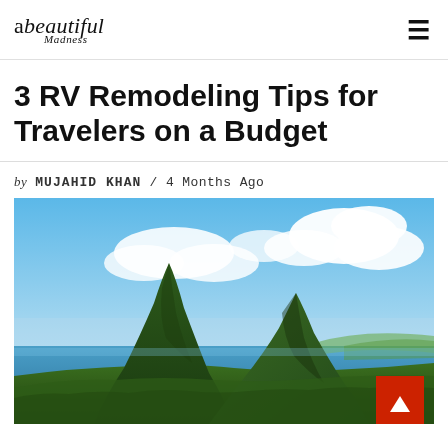abeautiful Madness
3 RV Remodeling Tips for Travelers on a Budget
by MUJAHID KHAN / 4 Months Ago
[Figure (photo): Scenic landscape photo showing two large green mountain peaks (the Pitons) rising above lush tropical forest, with a bright blue sky and white clouds above and blue ocean water visible in the background.]